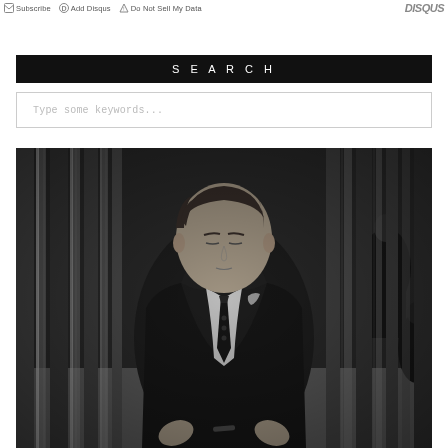Subscribe  Add Disqus  Do Not Sell My Data   DISQUS
SEARCH
Type some keywords...
[Figure (photo): Black and white photograph of a young man in a dark suit, white dress shirt, and black tie with pocket square, sitting and looking downward, in what appears to be a grand interior space with tall pillars and other people in the background.]